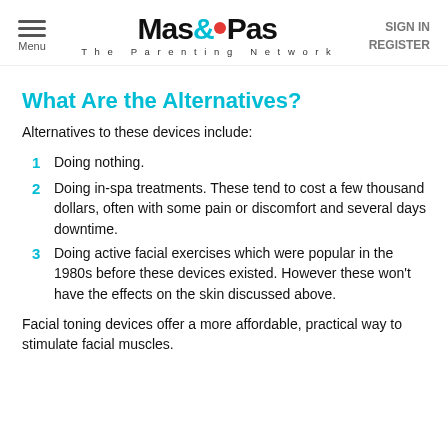Menu | Mas&Pas The Parenting Network | SIGN IN REGISTER
What Are the Alternatives?
Alternatives to these devices include:
1 Doing nothing.
2 Doing in-spa treatments. These tend to cost a few thousand dollars, often with some pain or discomfort and several days downtime.
3 Doing active facial exercises which were popular in the 1980s before these devices existed. However these won't have the effects on the skin discussed above.
Facial toning devices offer a more affordable, practical way to stimulate facial muscles.